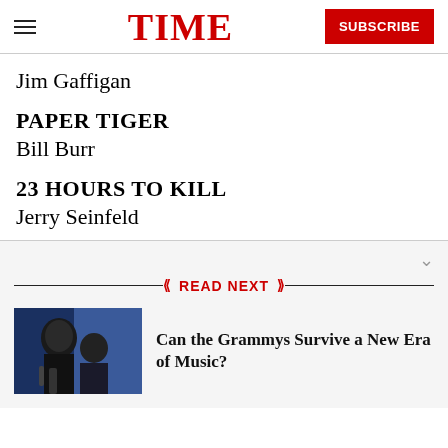TIME — SUBSCRIBE
Jim Gaffigan
PAPER TIGER
Bill Burr
23 HOURS TO KILL
Jerry Seinfeld
READ NEXT
Can the Grammys Survive a New Era of Music?